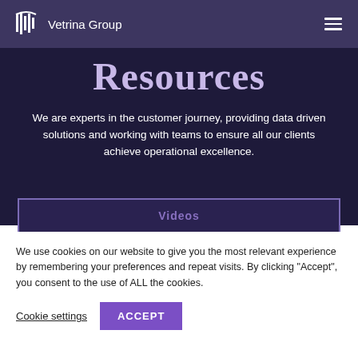Vetrina Group
Resources
We are experts in the customer journey, providing data driven solutions and working with teams to ensure all our clients achieve operational excellence.
Videos
We use cookies on our website to give you the most relevant experience by remembering your preferences and repeat visits. By clicking “Accept”, you consent to the use of ALL the cookies.
Cookie settings
ACCEPT